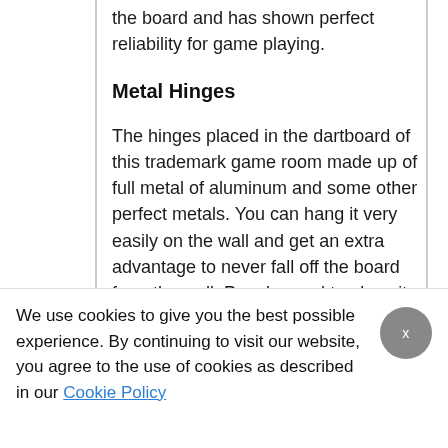the board and has shown perfect reliability for game playing.
Metal Hinges
The hinges placed in the dartboard of this trademark game room made up of full metal of aluminum and some other perfect metals. You can hang it very easily on the wall and get an extra advantage to never fall off the board from the wall. People need to place it. The perfect hanging position of the board
We use cookies to give you the best possible experience. By continuing to visit our website, you agree to the use of cookies as described in our Cookie Policy